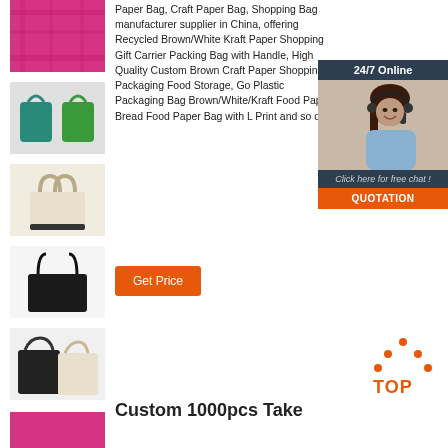[Figure (photo): Pink fabric thumbnail]
[Figure (photo): Two green drawstring bags]
[Figure (photo): Cream canvas tote bag]
[Figure (photo): Black handbag tote]
[Figure (photo): Black and cream tote bags]
[Figure (photo): Pink item partially visible]
Paper Bag, Craft Paper Bag, Shopping Bag manufacturer supplier in China, offering Recycled Brown/White Kraft Paper Shopping Gift Carrier Packing Bag with Handle, High Quality Custom Brown Craft Paper Shopping Packaging Food Storage, Go Plastic Packaging Bag Brown/White/Kraft Food Paper Bread Food Paper Bag with L Print and so on.
[Figure (infographic): 24/7 Online chat widget with customer service representative photo and QUOTATION button]
[Figure (other): TOP button icon with orange dots]
Custom 1000pcs Take